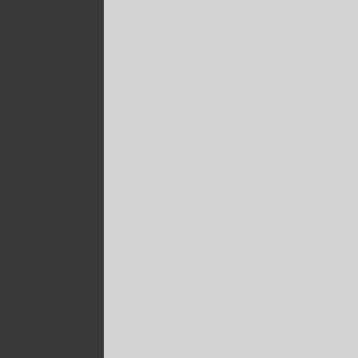Just exports:
[Figure (continuous-plot): Top panel: line chart showing price data with legend box showing Last Price 180.512, High on 09/30/12 187.327, Average 153.866, Low on 04/30/09 124.322. Bottom panel: bar chart showing Rate of Change 1(1) (USTBDEXP) -3.638 with red bars. X-axis shows Dec 06, Mar, Jun, Sep 2007, Dec, Mar, 20...]
CENTRAL BANKING MONE
Market Analytics
TECHNICALS & MARKET A
ANALYTICS - The Global